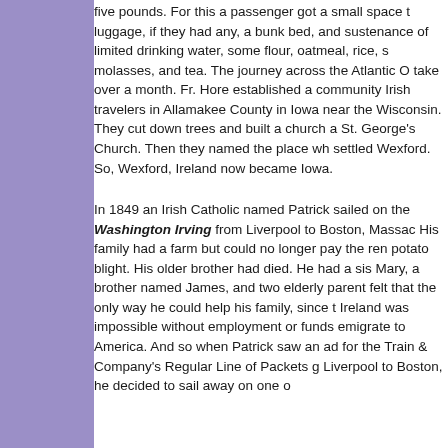five pounds. For this a passenger got a small space to luggage, if they had any, a bunk bed, and sustenance of limited drinking water, some flour, oatmeal, rice, so molasses, and tea. The journey across the Atlantic O take over a month. Fr. Hore established a community Irish travelers in Allamakee County in Iowa near the b Wisconsin. They cut down trees and built a church a St. George's Church. Then they named the place whe settled Wexford. So, Wexford, Ireland now became W Iowa.
In 1849 an Irish Catholic named Patrick sailed on the Washington Irving from Liverpool to Boston, Massac His family had a farm but could no longer pay the ren potato blight. His older brother had died. He had a sis Mary, a brother named James, and two elderly parent felt that the only way he could help his family, since t Ireland was impossible without employment or funds emigrate to America. And so when Patrick saw an ad for the Train & Company's Regular Line of Packets ge Liverpool to Boston, he decided to sail away on one o